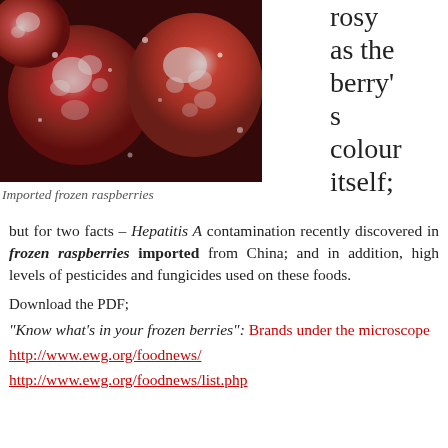[Figure (photo): Close-up photo of imported frozen raspberries covered in frost/ice crystals, showing bright red berries with white frosting.]
Imported frozen raspberries
rosy as the berry’s colour itself; but for two facts – Hepatitis A contamination recently discovered in frozen raspberries imported from China; and in addition, high levels of pesticides and fungicides used on these foods.
Download the PDF;
“Know what’s in your frozen berries”: Brands under the microscope
http://www.ewg.org/foodnews/
http://www.ewg.org/foodnews/list.php